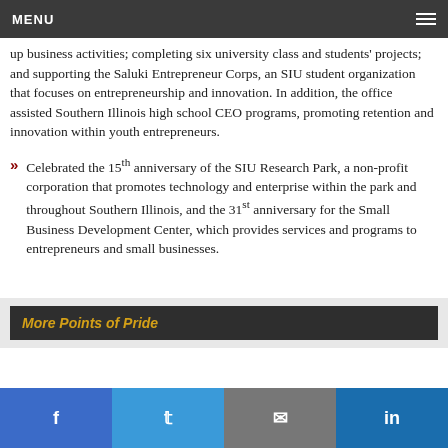MENU
up business activities; completing six university class and students' projects; and supporting the Saluki Entrepreneur Corps, an SIU student organization that focuses on entrepreneurship and innovation. In addition, the office assisted Southern Illinois high school CEO programs, promoting retention and innovation within youth entrepreneurs.
Celebrated the 15th anniversary of the SIU Research Park, a non-profit corporation that promotes technology and enterprise within the park and throughout Southern Illinois, and the 31st anniversary for the Small Business Development Center, which provides services and programs to entrepreneurs and small businesses.
More Points of Pride